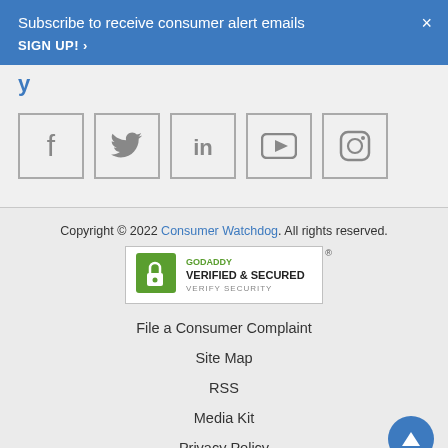Subscribe to receive consumer alert emails SIGN UP! ›
[Figure (other): Social media icons in bordered boxes: Facebook, Twitter, LinkedIn, YouTube, Instagram]
Copyright © 2022 Consumer Watchdog. All rights reserved.
[Figure (other): GoDaddy Verified & Secured badge with shield icon and 'VERIFY SECURITY' text]
File a Consumer Complaint
Site Map
RSS
Media Kit
Privacy Policy